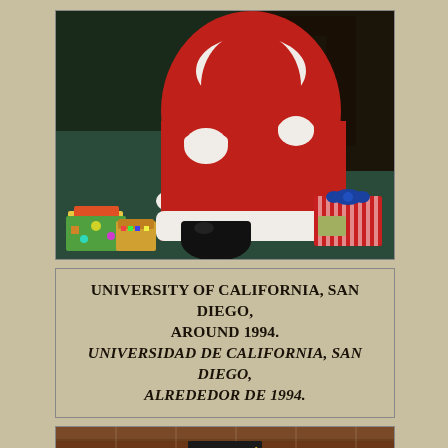[Figure (photo): Photo of a person dressed as Santa Claus in a red and white costume, seated in a dark wooden chair. Christmas gifts are visible on the floor on both sides — wrapped presents with colorful paper on the left, and a red striped gift with a blue bow on the right. The setting appears to be indoors on a dark green surface.]
UNIVERSITY OF CALIFORNIA, SAN DIEGO, AROUND 1994.
UNIVERSIDAD DE CALIFORNIA, SAN DIEGO, ALREDEDOR DE 1994.
[Figure (photo): Partial photo showing the top of a person's head wearing a dark graduation cap, with a wood-paneled or brick background visible.]